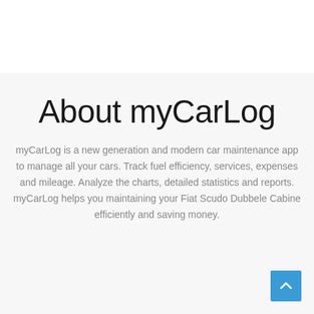About myCarLog
myCarLog is a new generation and modern car maintenance app to manage all your cars. Track fuel efficiency, services, expenses and mileage. Analyze the charts, detailed statistics and reports. myCarLog helps you maintaining your Fiat Scudo Dubbele Cabine efficiently and saving money.
[Figure (other): Blue scroll-to-top button with upward chevron arrow in bottom-right corner]